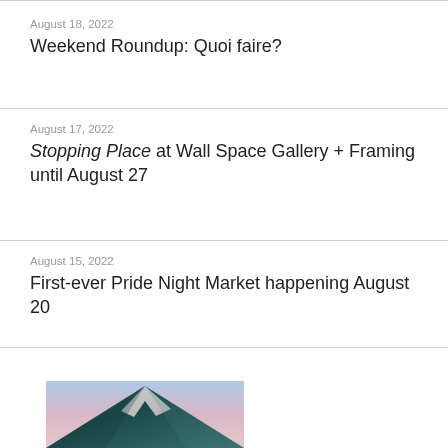August 18, 2022
Weekend Roundup: Quoi faire?
August 17, 2022
Stopping Place at Wall Space Gallery + Framing until August 27
August 15, 2022
First-ever Pride Night Market happening August 20
[Figure (photo): Mountain peak with snow and pink/blue sky, partially visible at bottom of page]